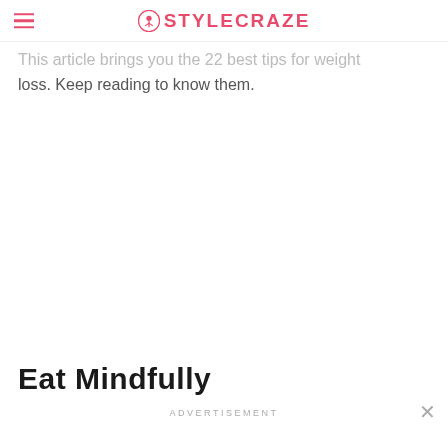STYLECRAZE
This article brings you the 22 best tips for weight loss. Keep reading to know them.
Eat Mindfully
ADVERTISEMENT